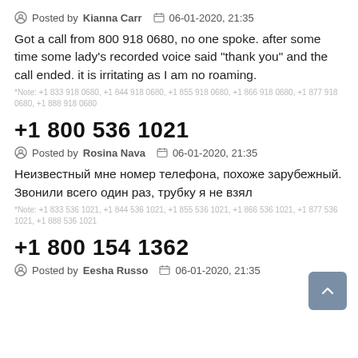Posted by Kianna Carr  06-01-2020, 21:35
Got a call from 800 918 0680, no one spoke. after some time some lady's recorded voice said "thank you" and the call ended. it is irritating as I am no roaming.
*Note: +1 833 918 0680, +1 844 918 0680, +1 855 918 0680, +1 866 918 0680, +1 877 918 0680, +1 888 918 0680
+1 800 536 1021
Posted by Rosina Nava  06-01-2020, 21:35
Неизвестный мне номер телефона, похоже зарубежный. Звонили всего один раз, трубку я не взял
*Note: +1 833 536 1021, +1 844 536 1021, +1 855 536 1021, +1 866 536 1021, +1 877 536 1021, +1 888 536 1021
+1 800 154 1362
Posted by Eesha Russo  06-01-2020, 21:35